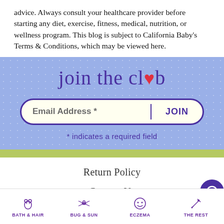advice. Always consult your healthcare provider before starting any diet, exercise, fitness, medical, nutrition, or wellness program. This blog is subject to California Baby's Terms & Conditions, which may be viewed here.
[Figure (infographic): Blue polka-dot banner with 'join the club' text in purple with a red heart replacing the 'u' in 'club', an email address input field, and a JOIN button]
* indicates a required field
Return Policy
Contact Us
[Figure (infographic): Bottom navigation bar with four category icons and labels: BATH & HAIR, BUG & SUN, ECZEMA, THE REST]